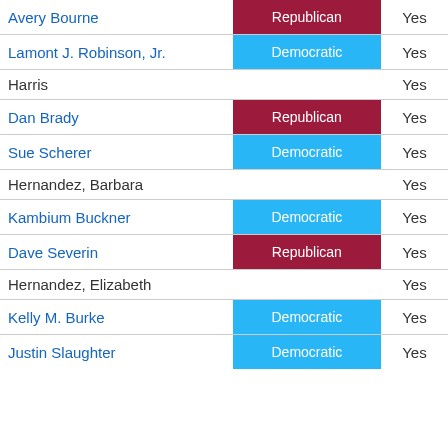| Name | Party | Vote |
| --- | --- | --- |
| Avery Bourne | Republican | Yes |
| Lamont J. Robinson, Jr. | Democratic | Yes |
| Harris |  | Yes |
| Dan Brady | Republican | Yes |
| Sue Scherer | Democratic | Yes |
| Hernandez, Barbara |  | Yes |
| Kambium Buckner | Democratic | Yes |
| Dave Severin | Republican | Yes |
| Hernandez, Elizabeth |  | Yes |
| Kelly M. Burke | Democratic | Yes |
| Justin Slaughter | Democratic | Yes |